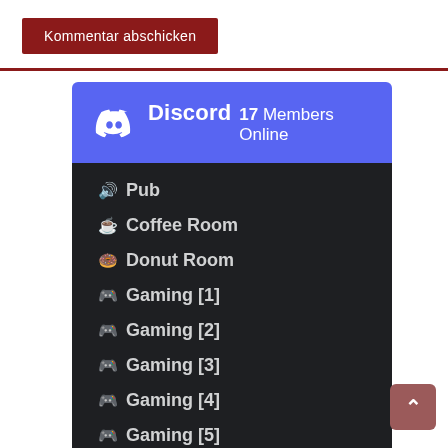Kommentar abschicken
[Figure (screenshot): Discord widget showing 17 Members Online with channel list: Pub, Coffee Room, Donut Room, Gaming [1] through Gaming [6] and more]
Pub
Coffee Room
Donut Room
Gaming [1]
Gaming [2]
Gaming [3]
Gaming [4]
Gaming [5]
Gaming [6]